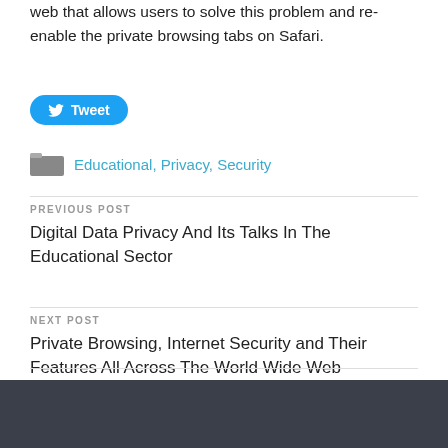web that allows users to solve this problem and re-enable the private browsing tabs on Safari.
[Figure (other): Twitter Tweet button with bird icon]
Educational, Privacy, Security
PREVIOUS POST
Digital Data Privacy And Its Talks In The Educational Sector
NEXT POST
Private Browsing, Internet Security and Their Features All Across The World Wide Web
ABOUT UR